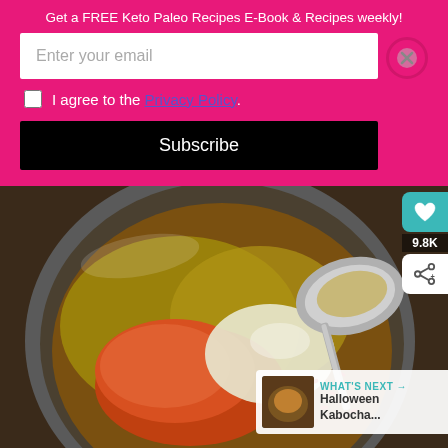Get a FREE Keto Paleo Recipes E-Book & Recipes weekly!
Enter your email
I agree to the Privacy Policy.
Subscribe
[Figure (photo): Overhead shot of a metal bowl containing spices including red/orange chili powder, red pepper flakes, and a liquid sauce mixture, with a metal ladle spoon resting in the bowl]
9.8K
WHAT'S NEXT → Halloween Kabocha...
Ashburn OPEN 8AM–9PM 44175 Ashbrook Marketplace Pla...